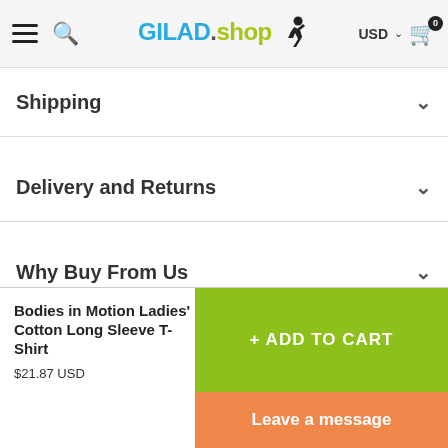GILAD.shop — USD Cart (0)
Shipping
Delivery and Returns
Why Buy From Us
Reviews
Bodies in Motion Ladies' Cotton Long Sleeve T-Shirt
$21.87 USD
+ ADD TO CART
Leave a message